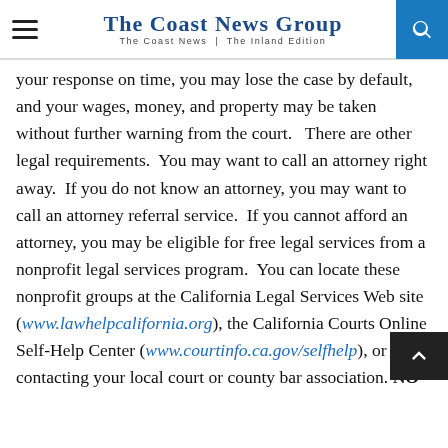The Coast News Group — The Coast News | The Inland Edition
your response on time, you may lose the case by default, and your wages, money, and property may be taken without further warning from the court.   There are other legal requirements.  You may want to call an attorney right away.  If you do not know an attorney, you may want to call an attorney referral service.  If you cannot afford an attorney, you may be eligible for free legal services from a nonprofit legal services program.  You can locate these nonprofit groups at the California Legal Services Web site (www.lawhelpcalifornia.org), the California Courts Online Self-Help Center (www.courtinfo.ca.gov/selfhelp), or by contacting your local court or county bar association. NO